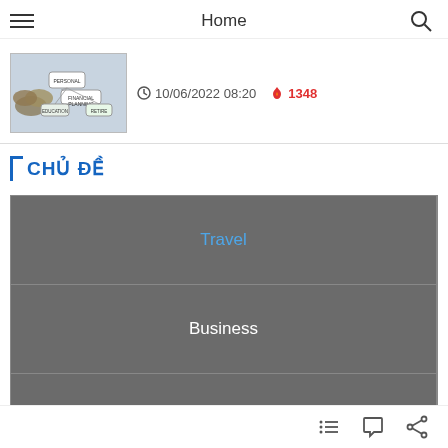Home
[Figure (screenshot): Thumbnail image of personal financial planning diagram with coins and mind-map]
10/06/2022 08:20   🔥 1348
CHỦ ĐỀ
| Travel | Business |
| Banking | Cars |
[Figure (photo): Two partial images visible at bottom strip]
Navigation icons: list, comment, share